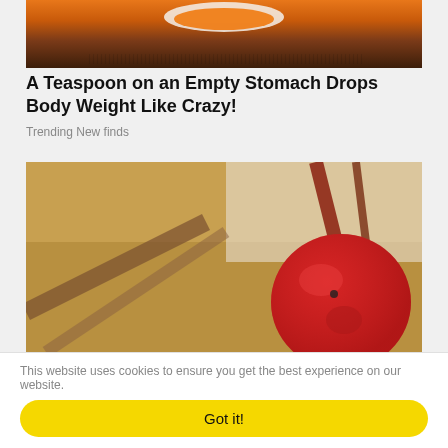[Figure (photo): Close-up photo of a bowl with orange liquid (likely soup or tea), dark bowl with textured rim, seen from above]
A Teaspoon on an Empty Stomach Drops Body Weight Like Crazy!
Trending New finds
[Figure (photo): Close-up photo of a small red crab apple or berry on a branch with blurred background]
This website uses cookies to ensure you get the best experience on our website.
Got it!